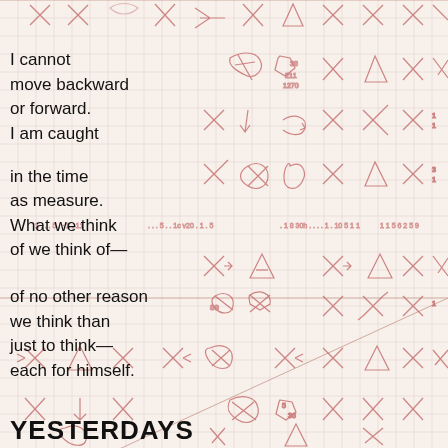[Figure (illustration): Background of graph/grid paper covered with hand-drawn red/pink sketches of X marks, star shapes, arrow-like figures, triangles, and various mathematical-looking scribbles arranged in a repeating grid pattern. The paper has a light pink/cream background with horizontal and vertical grid lines.]
I cannot move backward or forward. I am caught

in the time as measure. What we think of we think of—

of no other reason we think than just to think— each for himself.
YESTERDAYS